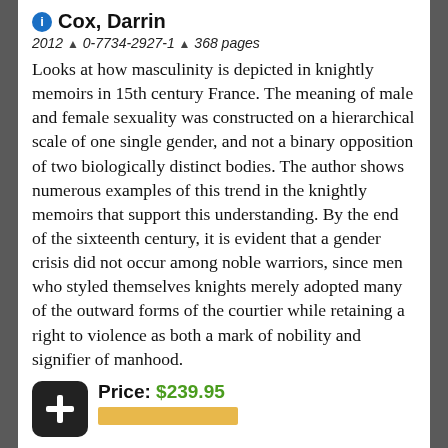Cox, Darrin
2012 ▲ 0-7734-2927-1 ▲ 368 pages
Looks at how masculinity is depicted in knightly memoirs in 15th century France. The meaning of male and female sexuality was constructed on a hierarchical scale of one single gender, and not a binary opposition of two biologically distinct bodies. The author shows numerous examples of this trend in the knightly memoirs that support this understanding. By the end of the sixteenth century, it is evident that a gender crisis did not occur among noble warriors, since men who styled themselves knights merely adopted many of the outward forms of the courtier while retaining a right to violence as both a mark of nobility and signifier of manhood.
Price: $239.95